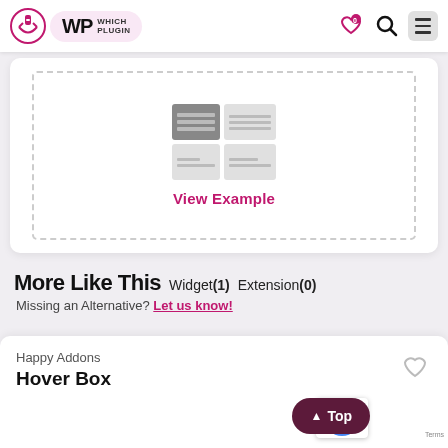WP Which Plugin
[Figure (screenshot): Grid/table layout icon inside a dashed border box]
View Example
More Like This Widget(1) Extension(0)
Missing an Alternative? Let us know!
Happy Addons
Hover Box